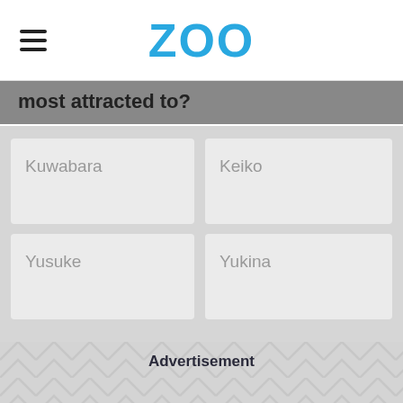ZOO
most attracted to?
Kuwabara
Keiko
Yusuke
Yukina
Advertisement